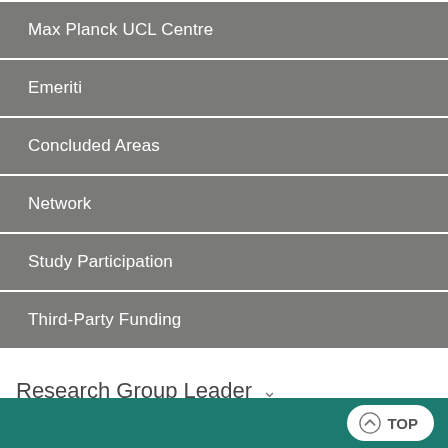Max Planck UCL Centre
Emeriti
Concluded Areas
Network
Study Participation
Third-Party Funding
Research Group Leader
TOP